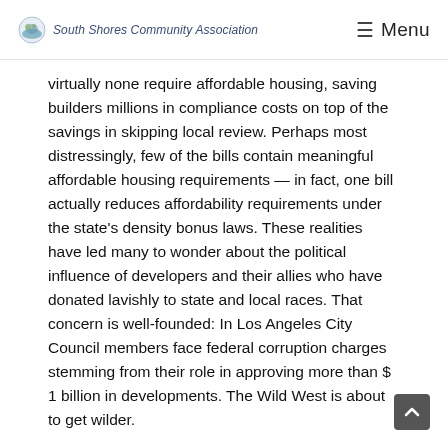South Shores Community Association   ☰ Menu
virtually none require affordable housing, saving builders millions in compliance costs on top of the savings in skipping local review. Perhaps most distressingly, few of the bills contain meaningful affordable housing requirements — in fact, one bill actually reduces affordability requirements under the state's density bonus laws. These realities have led many to wonder about the political influence of developers and their allies who have donated lavishly to state and local races. That concern is well-founded: In Los Angeles City Council members face federal corruption charges stemming from their role in approving more than $ 1 billion in developments. The Wild West is about to get wilder.
There's a final, fatal problem with the legislation: CO-VID 19. The pandemic is transforming the way Americans live and work. No